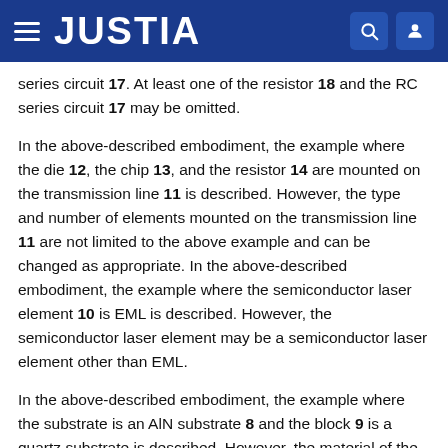JUSTIA
series circuit 17. At least one of the resistor 18 and the RC series circuit 17 may be omitted.
In the above-described embodiment, the example where the die 12, the chip 13, and the resistor 14 are mounted on the transmission line 11 is described. However, the type and number of elements mounted on the transmission line 11 are not limited to the above example and can be changed as appropriate. In the above-described embodiment, the example where the semiconductor laser element 10 is EML is described. However, the semiconductor laser element may be a semiconductor laser element other than EML.
In the above-described embodiment, the example where the substrate is an AlN substrate 8 and the block 9 is a quartz substrate is described. However, the material of the substrate may be other than AlN. The block may be